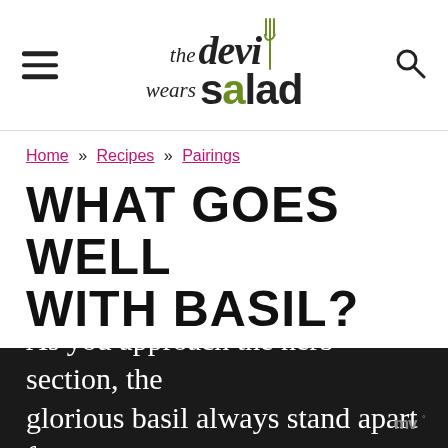the devil wears salad
Home » Recipes » Pairings
WHAT GOES WELL WITH BASIL?
Published: Jul 23, 2022 · Modified: Jul 23, 2022 by The Devil Wears Salad
As you approach the herb section, the glorious basil always stand apart form